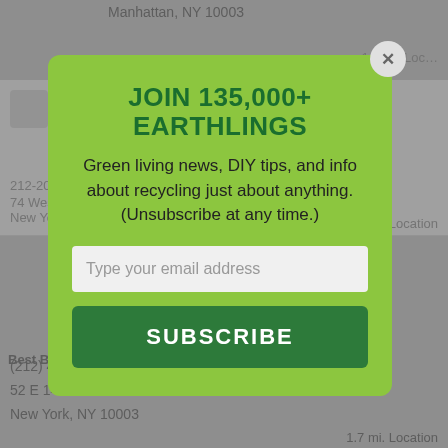Manhattan, NY 10003
1.5 mi. Loc...
Goodwill Industries of Greater New York and Northern New Jersey – ReConnect Collection Store
212-206-1619
74 West 14th Street
New York, NY 10011
1.7 mi. Location
Best Buy
(212) 466-4789
52 E 14th St
New York, NY 10003
1.7 mi. Location
JOIN 135,000+ EARTHLINGS
Green living news, DIY tips, and info about recycling just about anything. (Unsubscribe at any time.)
Type your email address
SUBSCRIBE